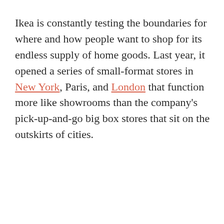Ikea is constantly testing the boundaries for where and how people want to shop for its endless supply of home goods. Last year, it opened a series of small-format stores in New York, Paris, and London that function more like showrooms than the company's pick-up-and-go big box stores that sit on the outskirts of cities.